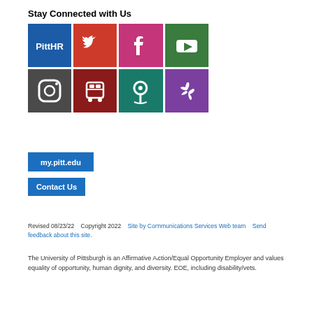Stay Connected with Us
[Figure (infographic): Grid of 8 social media and service icons: PittHR (blue), Twitter (red-orange), Facebook (pink/magenta), YouTube (green), Instagram (dark gray), Bus/Transit (dark red), Map Pin (teal), Yelp (purple)]
my.pitt.edu
Contact Us
Revised 08/23/22    Copyright 2022    Site by Communications Services Web team    Send feedback about this site.
The University of Pittsburgh is an Affirmative Action/Equal Opportunity Employer and values equality of opportunity, human dignity, and diversity. EOE, including disability/vets.